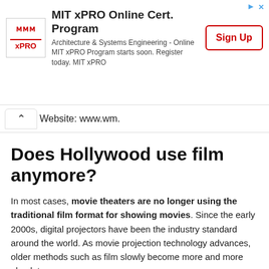[Figure (screenshot): MIT xPRO Online Certificate Program advertisement banner with logo, description text, and Sign Up button]
Website: www.wm.
Does Hollywood use film anymore?
In most cases, movie theaters are no longer using the traditional film format for showing movies. Since the early 2000s, digital projectors have been the industry standard around the world. As movie projection technology advances, older methods such as film slowly become more and more obsolete.
Was the Joker filmed in 35mm?